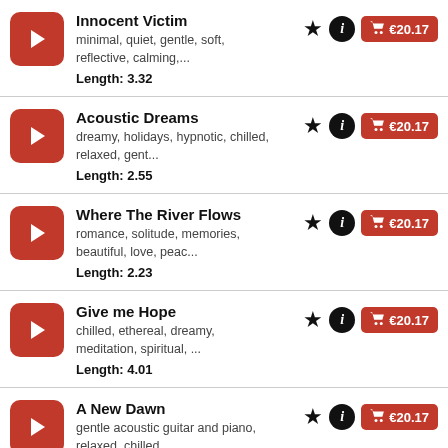Innocent Victim — minimal, quiet, gentle, soft, reflective, calming,... Length: 3.32 — €20.17
Acoustic Dreams — dreamy, holidays, hypnotic, chilled, relaxed, gent... Length: 2.55 — €20.17
Where The River Flows — romance, solitude, memories, beautiful, love, peac... Length: 2.23 — €20.17
Give me Hope — chilled, ethereal, dreamy, meditation, spiritual, ... Length: 4.01 — €20.17
A New Dawn — gentle acoustic guitar and piano, relaxed, chilled... Length: 2.02